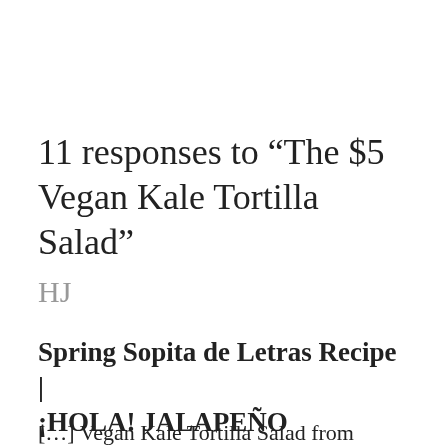11 responses to “The $5 Vegan Kale Tortilla Salad”
HJ
Spring Sopita de Letras Recipe | ¡HOLA! JALAPEÑO
May 7, 2016
[…] Vegan Kale Tortilla Salad from Greens &